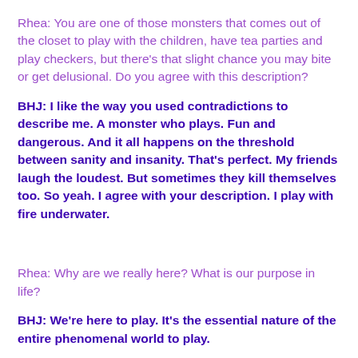Rhea: You are one of those monsters that comes out of the closet to play with the children, have tea parties and play checkers, but there's that slight chance you may bite or get delusional. Do you agree with this description?
BHJ: I like the way you used contradictions to describe me. A monster who plays. Fun and dangerous. And it all happens on the threshold between sanity and insanity. That's perfect. My friends laugh the loudest. But sometimes they kill themselves too. So yeah. I agree with your description. I play with fire underwater.
Rhea: Why are we really here? What is our purpose in life?
BHJ: We're here to play. It's the essential nature of the entire phenomenal world to play.